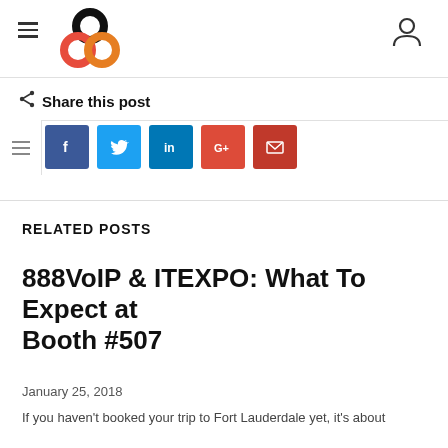888VoIP website header with logo and navigation
Share this post
[Figure (infographic): Social share buttons: Facebook, Twitter, LinkedIn, Google+, Email]
RELATED POSTS
888VoIP & ITEXPO: What To Expect at Booth #507
January 25, 2018
If you haven't booked your trip to Fort Lauderdale yet, it's about